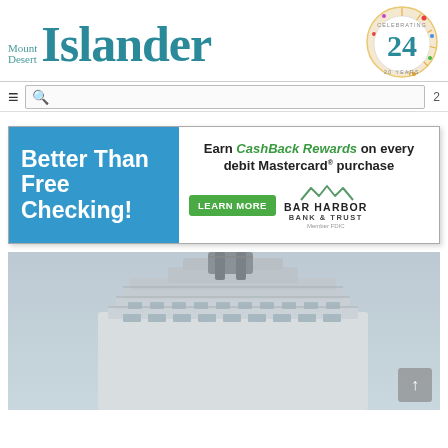Mount Desert Islander — 20 Years Celebrating 24
[Figure (screenshot): Navigation bar with hamburger menu, search box, and page number 2]
[Figure (infographic): Bar Harbor Bank & Trust advertisement: 'Better Than Free Checking! Earn CashBack Rewards on every debit Mastercard purchase. LEARN MORE. Bar Harbor Bank & Trust. Member FDIC.']
[Figure (photo): Photo of the top of a large cruise ship against a hazy sky, showing the bridge and upper decks with a funnel/smokestack]